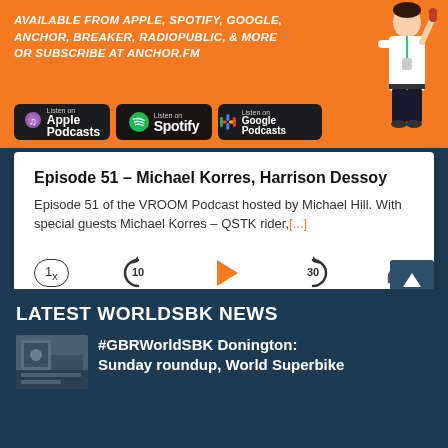[Figure (screenshot): Orange podcast banner with text 'Available from Apple, Spotify, Google, Anchor, Breaker, RadioPublic, & More or subscribe at Anchor.FM' and buttons for Apple Podcasts, Spotify, Google Podcasts. A cartoon character of a man in white shirt holding a microphone is on the right.]
Episode 51 – Michael Korres, Harrison Dessoy
Episode 51 of the VROOM Podcast hosted by Michael Hill. With special guests Michael Korres – QSTK rider,[...]
[Figure (screenshot): Podcast audio player controls: speed button '1x', rewind 10 seconds, play button (orange triangle), forward 30 seconds, share button. Time display shows 00:00 / 00:00. Orange progress bar with dot at start. Bottom navigation: skip to start, playlist, skip to end buttons.]
LATEST WORLDSBK NEWS
[Figure (photo): Thumbnail photo of what appears to be a race paddock or garage area]
#GBRWorldSBK Donington: Sunday roundup, World Superbike